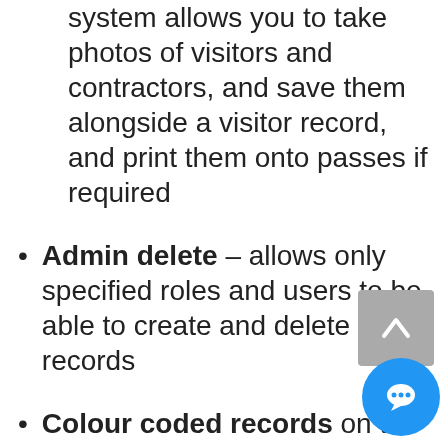system allows you to take photos of visitors and contractors, and save them alongside a visitor record, and print them onto passes if required
Admin delete – allows only specified roles and users to be able to create and delete records
Colour coded records on the dashboard provide you with warnings if any data is out of date or obsolete – for example Company Insurance or Induction date - critical for contractors are using